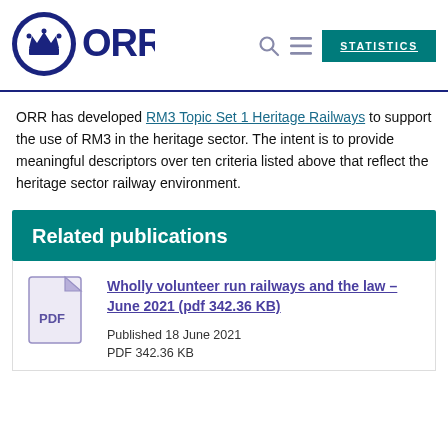[Figure (logo): ORR (Office of Rail and Road) logo — navy blue crown with ORR letters]
STATISTICS
ORR has developed RM3 Topic Set 1 Heritage Railways to support the use of RM3 in the heritage sector. The intent is to provide meaningful descriptors over ten criteria listed above that reflect the heritage sector railway environment.
Related publications
[Figure (illustration): PDF file icon — document with folded corner, showing PDF label]
Wholly volunteer run railways and the law – June 2021 (pdf 342.36 KB)
Published 18 June 2021
PDF 342.36 KB